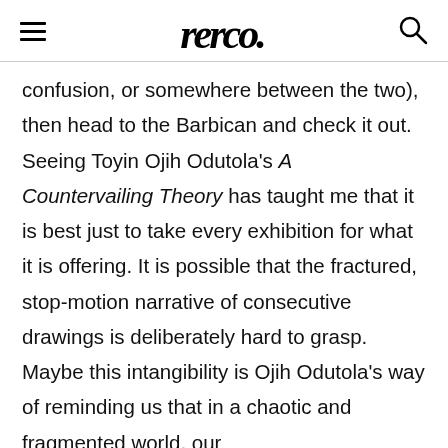≡  [logo]  🔍
confusion, or somewhere between the two), then head to the Barbican and check it out. Seeing Toyin Ojih Odutola's A Countervailing Theory has taught me that it is best just to take every exhibition for what it is offering. It is possible that the fractured, stop-motion narrative of consecutive drawings is deliberately hard to grasp. Maybe this intangibility is Ojih Odutola's way of reminding us that in a chaotic and fragmented world, our